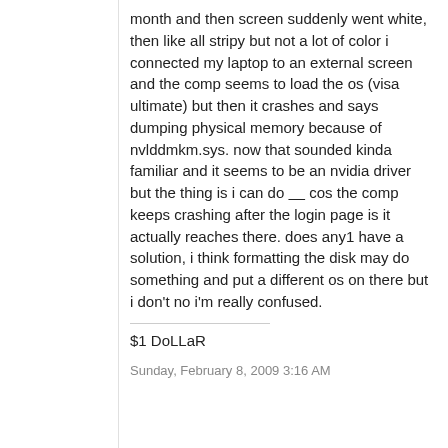month and then screen suddenly went white, then like all stripy but not a lot of color i connected my laptop to an external screen and the comp seems to load the os (visa ultimate) but then it crashes and says dumping physical memory because of nvlddmkm.sys. now that sounded kinda familiar and it seems to be an nvidia driver but the thing is i can do ____ cos the comp keeps crashing after the login page is it actually reaches there. does any1 have a solution, i think formatting the disk may do something and put a different os on there but i don't no i'm really confused.
$1 DoLLaR
Sunday, February 8, 2009 3:16 AM